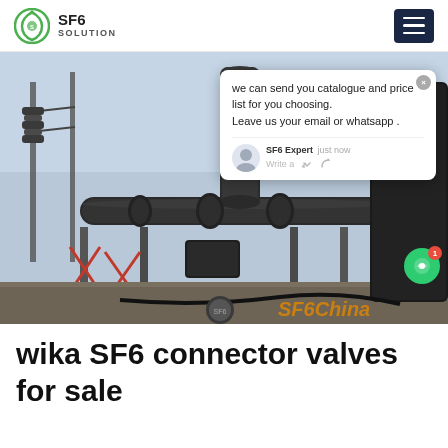SF6 SOLUTION
[Figure (photo): Industrial SF6 gas substation with large black pipe connectors and valves at an outdoor electrical facility. A chat popup overlay is visible on the right side saying 'we can send you catalogue and price list for you choosing. Leave us your email or whatsapp.' with SF6 Expert avatar and 'just now' timestamp. SF6China watermark in bottom right.]
wika SF6 connector valves for sale